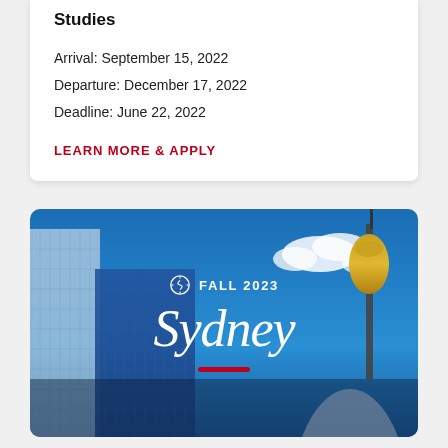Studies
Arrival: September 15, 2022
Departure: December 17, 2022
Deadline: June 22, 2022
LEARN MORE & APPLY
[Figure (photo): Sydney cityscape with skyscrapers and Sydney Tower under blue sky, with text overlay 'FALL 2023' and 'Sydney' in script font with a red underline bar]